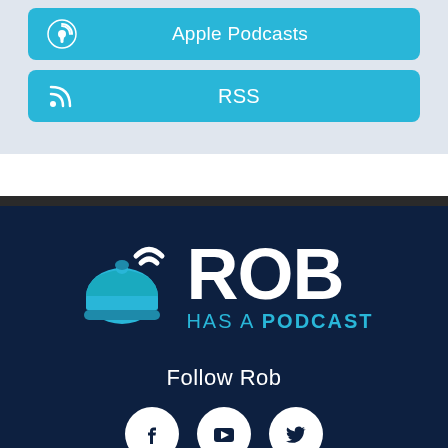[Figure (infographic): Apple Podcasts button with podcast icon on cyan/blue background]
[Figure (infographic): RSS button with RSS icon on cyan/blue background]
[Figure (logo): Rob Has a Podcast logo: a hotel bell with wifi signal arc in blue on dark navy background, with large white ROB text and cyan HAS A PODCAST text]
Follow Rob
[Figure (infographic): Social media icons: Facebook, YouTube, Twitter as white circles on dark navy background]